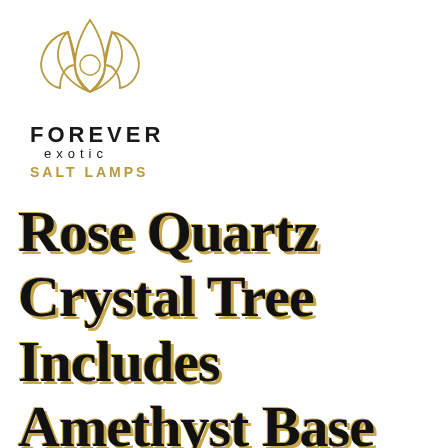[Figure (logo): Forever Exotic Salt Lamps logo with golden lotus flower graphic above the brand name]
Rose Quartz Crystal Tree Includes Amethyst Base